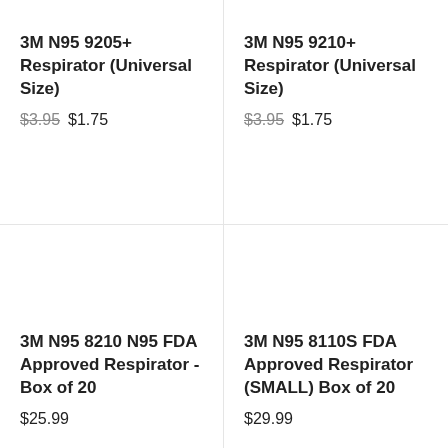3M N95 9205+ Respirator (Universal Size)
$3.95 $1.75
3M N95 9210+ Respirator (Universal Size)
$3.95 $1.75
3M N95 8210 N95 FDA Approved Respirator - Box of 20
$25.99
3M N95 8110S FDA Approved Respirator (SMALL) Box of 20
$29.99